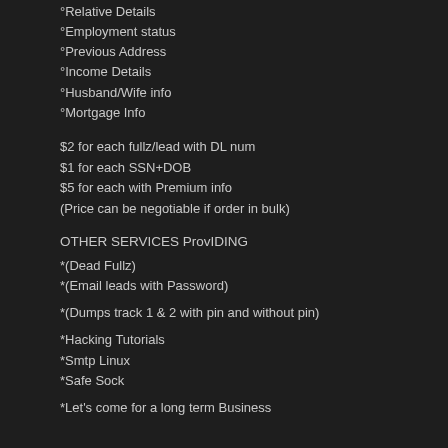°Relative Details
°Employment status
°Previous Address
°Income Details
°Husband/Wife info
°Mortgage Info
$2 for each fullz/lead with DL num
$1 for each SSN+DOB
$5 for each with Premium info
(Price can be negotiable if order in bulk)
OTHER SERVICES ProvIDING
*(Dead Fullz)
*(Email leads with Password)
*(Dumps track 1 & 2 with pin and without pin)
*Hacking Tutorials
*Smtp Linux
*Safe Sock
*Let's come for a long term Business